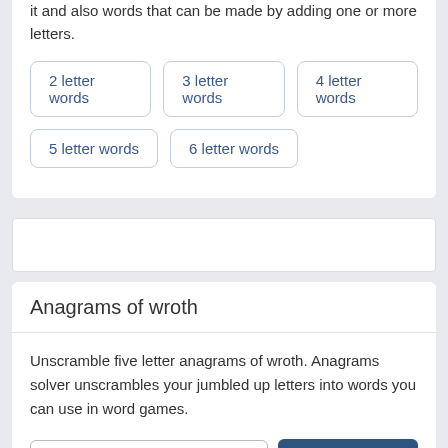it and also words that can be made by adding one or more letters.
2 letter words
3 letter words
4 letter words
5 letter words
6 letter words
Anagrams of wroth
Unscramble five letter anagrams of wroth. Anagrams solver unscrambles your jumbled up letters into words you can use in word games.